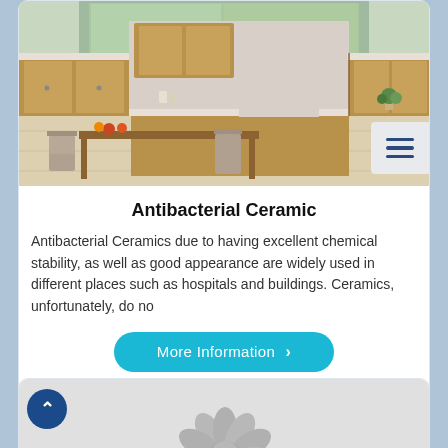[Figure (photo): Kitchen interior with wooden cabinets, dining table with chairs, light wood floor, and window in the background. Hamburger menu icon overlay in bottom right.]
Antibacterial Ceramic
Antibacterial Ceramics due to having excellent chemical stability, as well as good appearance are widely used in different places such as hospitals and buildings. Ceramics, unfortunately, do no
[Figure (photo): Gray ceramic art piece resembling a flower or crown shape on a light gray background. Back/up navigation button on the left.]